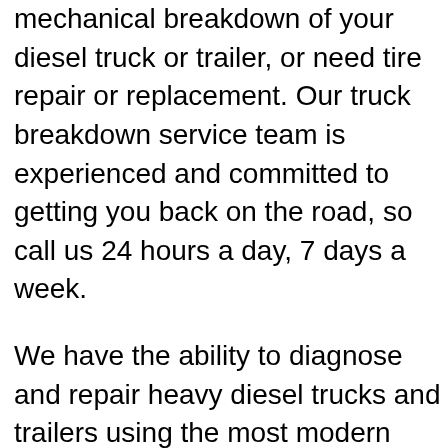mechanical breakdown of your diesel truck or trailer, or need tire repair or replacement. Our truck breakdown service team is experienced and committed to getting you back on the road, so call us 24 hours a day, 7 days a week.
We have the ability to diagnose and repair heavy diesel trucks and trailers using the most modern techniques and equipment. Our trucks have common parts stocked to avoid unnecessary trips that would cost you extra time and money. Most of our service calls are completed without having to make additional parts runs. FX Mobile Mechanic Services Omaha's dedication to their